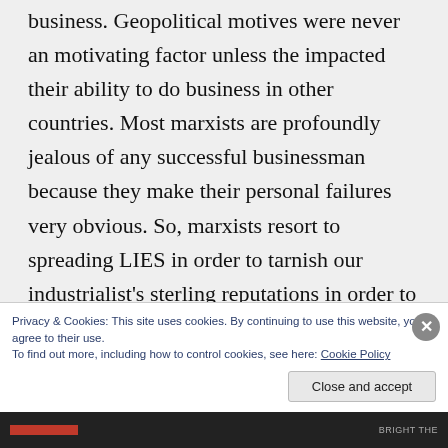business. Geopolitical motives were never an motivating factor unless the impacted their ability to do business in other countries. Most marxists are profoundly jealous of any successful businessman because they make their personal failures very obvious. So, marxists resort to spreading LIES in order to tarnish our industrialist's sterling reputations in order to salve their
Privacy & Cookies: This site uses cookies. By continuing to use this website, you agree to their use.
To find out more, including how to control cookies, see here: Cookie Policy
Close and accept